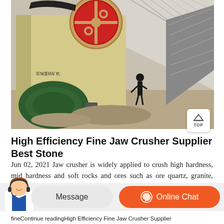[Figure (photo): Industrial jaw crusher machine in a mining/quarry facility. A large yellow-green jaw crusher with a prominent red flywheel/pulley belt drive system is shown in the foreground. A green motor sits at the base. A worker is seen in the background working near the machinery inside a large industrial building with a steel truss roof.]
High Efficiency Fine Jaw Crusher Supplier Best Stone
Jun 02, 2021 Jaw crusher is widely applied to crush high hardness, mid hardness and soft rocks and ores such as ore quartz, granite, limestone, s... construction materials, marble and so on. The maximum
[Figure (screenshot): Chat bar UI with customer service avatar on left, a 'Message' button in light grey pill shape, and an 'Online Chat' button in orange pill shape with headset icon.]
fineContinue readingHigh Efficiency Fine Jaw Crusher Supplier